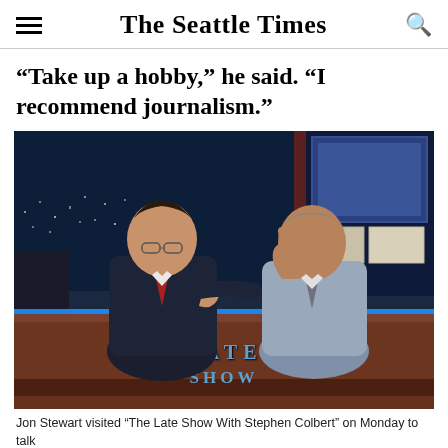The Seattle Times
“Take up a hobby,” he said. “I recommend journalism.”
[Figure (photo): Jon Stewart and Stephen Colbert sitting at the Late Show desk, leaning toward each other in conversation. Jon Stewart holds up one finger making a point. The Late Show logo visible on the front of the desk.]
Jon Stewart visited “The Late Show With Stephen Colbert” on Monday to talk